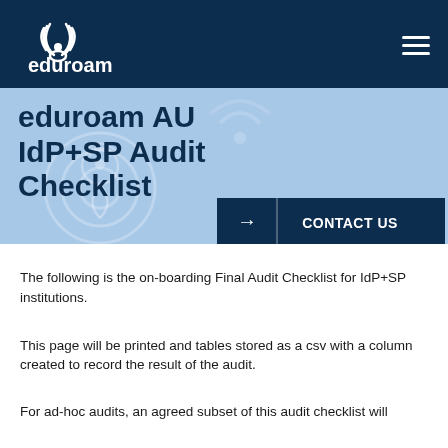eduroam
eduroam AU IdP+SP Audit Checklist
The following is the on-boarding Final Audit Checklist for IdP+SP institutions.
This page will be printed and tables stored as a csv with a column created to record the result of the audit.
For ad-hoc audits, an agreed subset of this audit checklist will